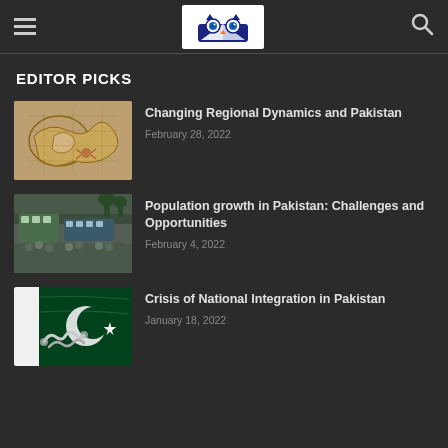EDITOR PICKS — news/blog site header with hamburger menu, owl logo, and search icon
EDITOR PICKS
[Figure (photo): Antique map showing South Asia / Pakistan region]
Changing Regional Dynamics and Pakistan
February 28, 2022
[Figure (photo): Crowded street scene with buses and people in Pakistan]
Population growth in Pakistan: Challenges and Opportunities
February 4, 2022
[Figure (photo): Pakistani flag (green and white) with hands clasped]
Crisis of National Integration in Pakistan
January 18, 2022